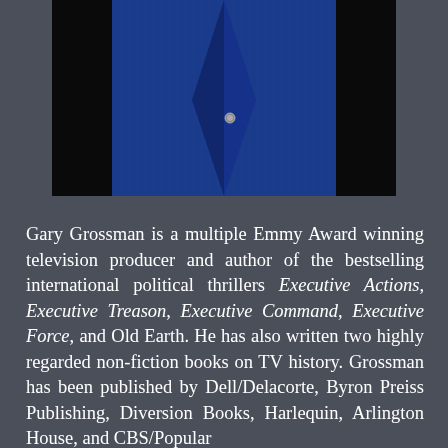[Figure (photo): Close-up photo of a person wearing a blue pinstripe suit jacket against a dark/black background. A small pin or button is visible on the jacket lapel area.]
Gary Grossman is a multiple Emmy Award winning television producer and author of the bestselling international political thrillers Executive Actions, Executive Treason, Executive Command, Executive Force, and Old Earth. He has also written two highly regarded non-fiction books on TV history. Grossman has been published by Dell/Delacorte, Byron Preiss Publishing, Diversion Books, Harlequin, Arlington House, and CBS/Popular